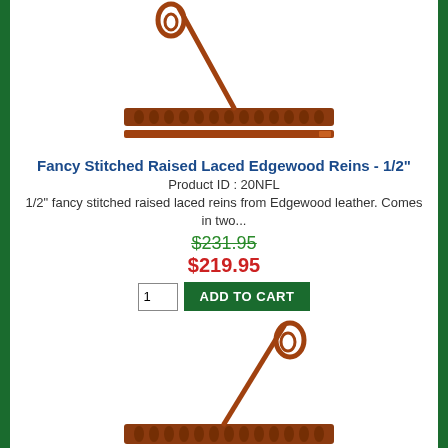[Figure (illustration): Fancy stitched raised laced rein with loop end, top view showing braided strap and leather needle - 1/2 inch size]
Fancy Stitched Raised Laced Edgewood Reins - 1/2"
Product ID : 20NFL
1/2" fancy stitched raised laced reins from Edgewood leather. Comes in two...
$231.95 (strikethrough) $219.95
[Figure (illustration): Fancy stitched raised laced rein with loop end, top view showing braided strap and leather needle - 5/8 inch size]
Fancy Stitched Raised Laced Edgewood Reins - 5/8"
Product ID : 20NFL